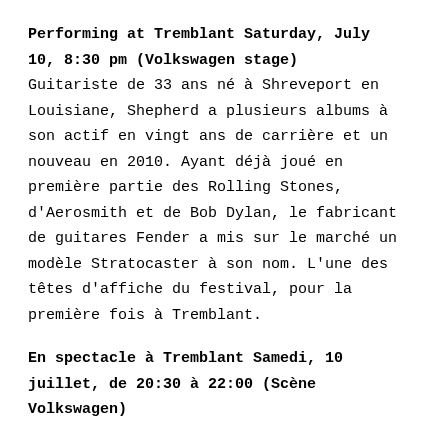Performing at Tremblant Saturday, July 10, 8:30 pm (Volkswagen stage) Guitariste de 33 ans né à Shreveport en Louisiane, Shepherd a plusieurs albums à son actif en vingt ans de carrière et un nouveau en 2010. Ayant déjà joué en première partie des Rolling Stones, d'Aerosmith et de Bob Dylan, le fabricant de guitares Fender a mis sur le marché un modèle Stratocaster à son nom. L'une des têtes d'affiche du festival, pour la première fois à Tremblant.
En spectacle à Tremblant Samedi, 10 juillet, de 20:30 à 22:00 (Scène Volkswagen)